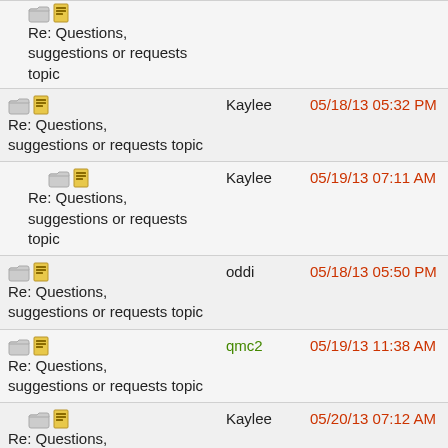Re: Questions, suggestions or requests topic | suggestions or requests topic | (partial, top cut off)
Re: Questions, suggestions or requests topic | Kaylee | 05/18/13 05:32 PM
Re: Questions, suggestions or requests topic | Kaylee | 05/19/13 07:11 AM
Re: Questions, suggestions or requests topic | oddi | 05/18/13 05:50 PM
Re: Questions, suggestions or requests topic | qmc2 | 05/19/13 11:38 AM
Re: Questions, suggestions or requests topic | Kaylee | 05/20/13 07:12 AM
Re: Questions, suggestions or requests topic | Anna Wu | 05/20/13 09:08 AM
Re: Questions, suggestions or requests topic | Kaylee | 05/20/13 09:16 AM
Re: Questions, suggestions or requests topic | qmc2 | 05/20/13 10:24 AM